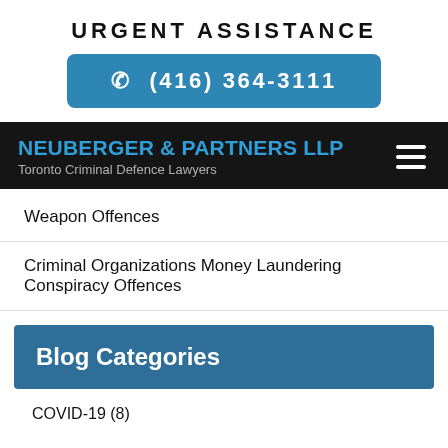URGENT ASSISTANCE
(416) 364-3111
[Figure (logo): Neuberger & Partners LLP logo with navigation bar on dark background. Text reads 'NEUBERGER & PARTNERS LLP' in blue and 'Toronto Criminal Defence Lawyers' in grey. Hamburger menu icon on right.]
Weapon Offences
Criminal Organizations Money Laundering Conspiracy Offences
Blog Categories
COVID-19 (8)